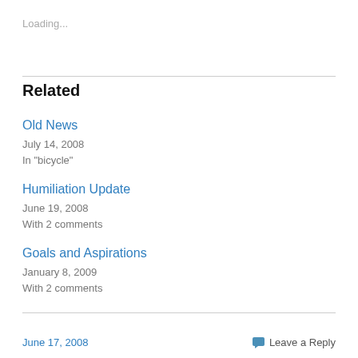Loading...
Related
Old News
July 14, 2008
In "bicycle"
Humiliation Update
June 19, 2008
With 2 comments
Goals and Aspirations
January 8, 2009
With 2 comments
June 17, 2008   Leave a Reply